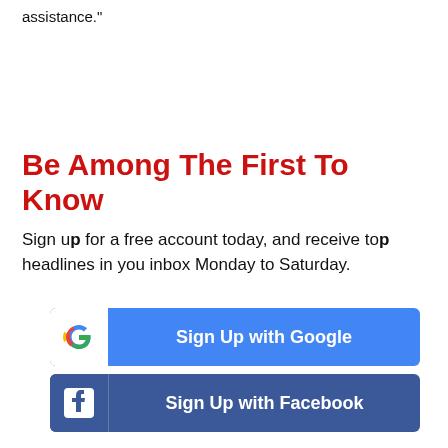assistance."
Be Among The First To Know
Sign up for a free account today, and receive top headlines in you inbox Monday to Saturday.
[Figure (other): Sign Up with Google button with Google logo icon]
[Figure (other): Sign Up with Facebook button with Facebook logo icon]
or
Email Address